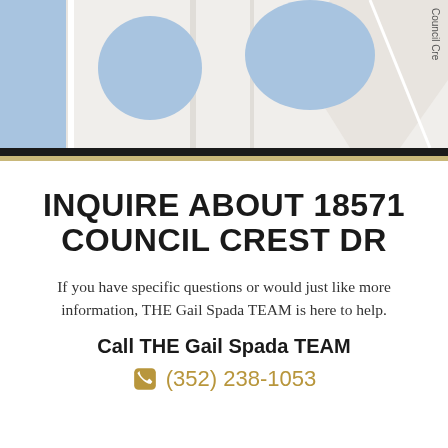[Figure (map): Partial street map showing a neighborhood with blue building/parcel highlights and a label reading 'Council Cre' along the right edge (truncated street name, likely Council Crest Dr).]
INQUIRE ABOUT 18571 COUNCIL CREST DR
If you have specific questions or would just like more information, THE Gail Spada TEAM is here to help.
Call THE Gail Spada TEAM
(352) 238-1053